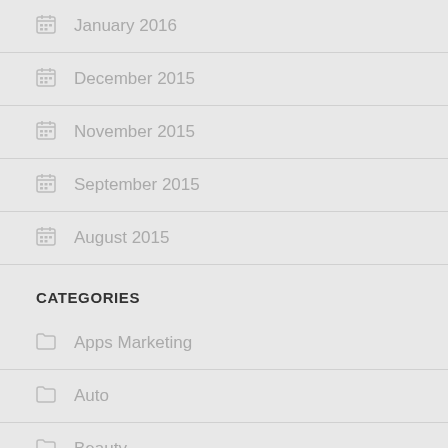January 2016
December 2015
November 2015
September 2015
August 2015
CATEGORIES
Apps Marketing
Auto
Beauty